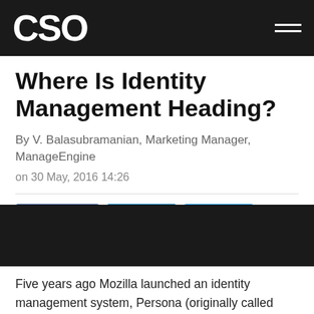CSO
Where Is Identity Management Heading?
By V. Balasubramanian, Marketing Manager, ManageEngine
on 30 May, 2016 14:26
[Figure (other): Social share buttons: Facebook (f -), LinkedIn (in), Twitter (bird icon)]
[Figure (other): Dark black banner/image area]
Five years ago Mozilla launched an identity management system, Persona (originally called BrowserID). At the time, a sense of optimism was in the air. Everyone thought the new technology would become the next sign of open identity...